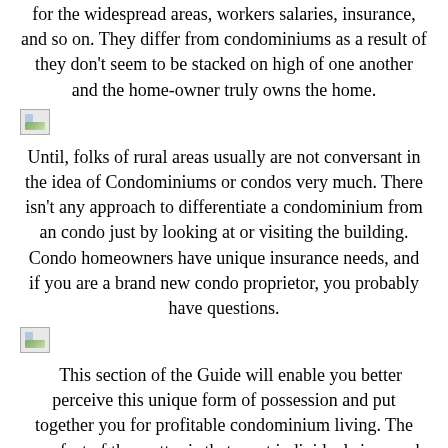for the widespread areas, workers salaries, insurance, and so on. They differ from condominiums as a result of they don't seem to be stacked on high of one another and the home-owner truly owns the home.
[Figure (illustration): Broken image placeholder icon]
Until, folks of rural areas usually are not conversant in the idea of Condominiums or condos very much. There isn't any approach to differentiate a condominium from an condo just by looking at or visiting the building. Condo homeowners have unique insurance needs, and if you are a brand new condo proprietor, you probably have questions.
[Figure (illustration): Broken image placeholder icon]
This section of the Guide will enable you better perceive this unique form of possession and put together you for profitable condominium living. The very fact of the matter is that most individuals in search of condos and lofts are of their 20's or 30's, largely